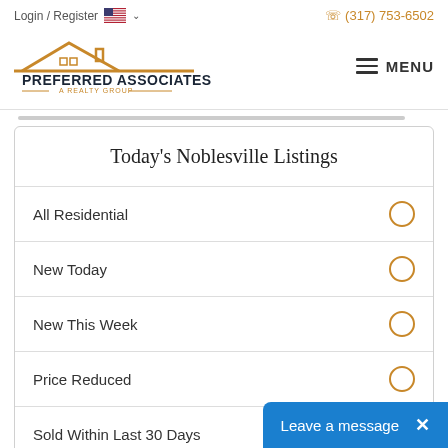Login / Register   (317) 753-6502
[Figure (logo): Preferred Associates A Realty Group logo with house/roof icon in gold]
Today's Noblesville Listings
All Residential
New Today
New This Week
Price Reduced
Sold Within Last 30 Days
Leave a message  ×